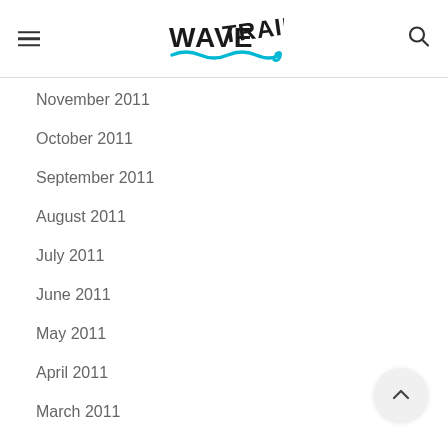WAVETRAIN
November 2011
October 2011
September 2011
August 2011
July 2011
June 2011
May 2011
April 2011
March 2011